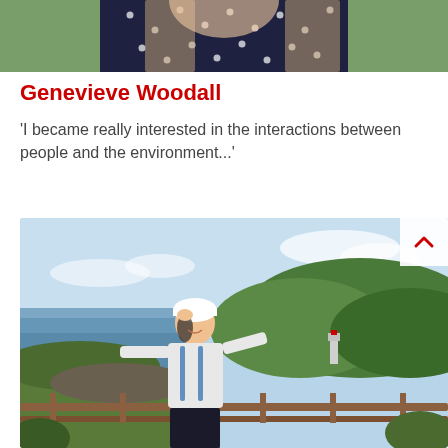[Figure (photo): Top portion of a portrait photo of a young woman with long hair wearing a dark blue polka-dot top, cropped at shoulders]
Genevieve Woodall
'I became really interested in the interactions between people and the environment...'
[Figure (photo): Young woman in a white long-sleeve athletic top and white cap, smiling and standing at a wooden railing with a scenic coastal and hill landscape behind her]